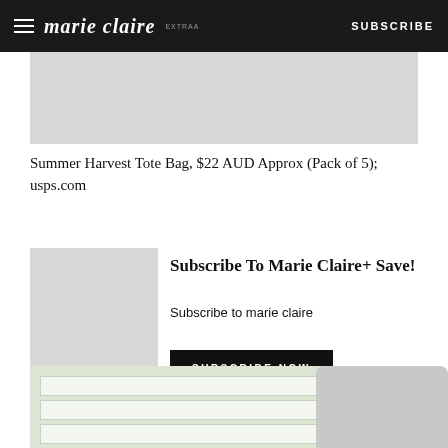marie claire | SUBSCRIBE
[Figure (photo): Gray placeholder image at top of page, partially visible]
Summer Harvest Tote Bag, $22 AUD Approx (Pack of 5); usps.com
[Figure (photo): Gray placeholder image on left side of subscription block]
Subscribe To Marie Claire+ Save!
Subscribe to marie claire
SUBSCRIBE NOW
[Figure (photo): Two partially visible product images at bottom of page]